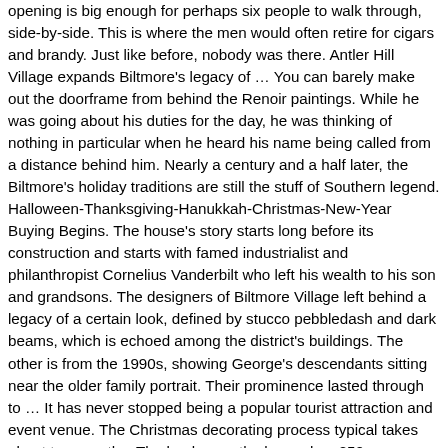opening is big enough for perhaps six people to walk through, side-by-side. This is where the men would often retire for cigars and brandy. Just like before, nobody was there. Antler Hill Village expands Biltmore's legacy of … You can barely make out the doorframe from behind the Renoir paintings. While he was going about his duties for the day, he was thinking of nothing in particular when he heard his name being called from a distance behind him. Nearly a century and a half later, the Biltmore's holiday traditions are still the stuff of Southern legend. Halloween-Thanksgiving-Hanukkah-Christmas-New-Year Buying Begins. The house's story starts long before its construction and starts with famed industrialist and philanthropist Cornelius Vanderbilt who left his wealth to his son and grandsons. The designers of Biltmore Village left behind a legacy of a certain look, defined by stucco pebbledash and dark beams, which is echoed among the district's buildings. The other is from the 1990s, showing George's descendants sitting near the older family portrait. Their prominence lasted through to … It has never stopped being a popular tourist attraction and event venue. The Christmas decorating process typical takes about two months. The book says the house has 250 rooms. Vanderbilt dispatched some New York lawyers to the area and they started to slowly buy up all the land. George Vanderbilt brought his mother to Asheville in 1888 to help her find relief from a respiratory problem. A home in the iconic Biltmore Circle is now on the market for $5,250,000. He most definitely won. George Vanderbilt spent a significant